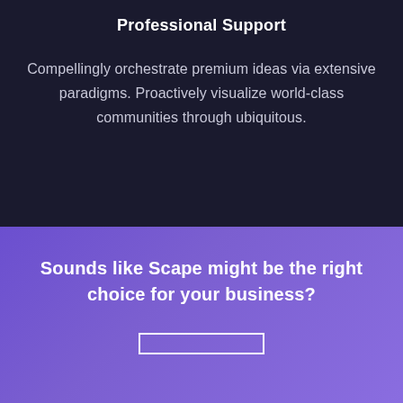Professional Support
Compellingly orchestrate premium ideas via extensive paradigms. Proactively visualize world-class communities through ubiquitous.
Sounds like Scape might be the right choice for your business?